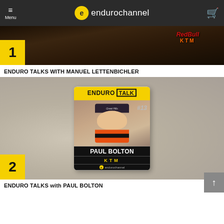Menu | endurochannel
[Figure (photo): Dark action photo with Red Bull KTM gear, numbered badge '1' in yellow]
ENDURO TALKS WITH MANUEL LETTENBICHLER
[Figure (photo): Enduro Talk card featuring Paul Bolton #13 on a textured background, numbered badge '2' in yellow]
ENDURO TALKS with PAUL BOLTON